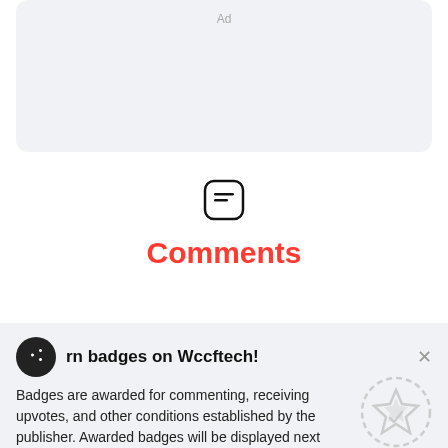[Figure (other): Ad placeholder box with light grey background and 'Ad' label]
[Figure (other): Comment bubble icon — rounded square with lines inside, black outline]
Comments
rn badges on Wccftech!
Badges are awarded for commenting, receiving upvotes, and other conditions established by the publisher. Awarded badges will be displayed next